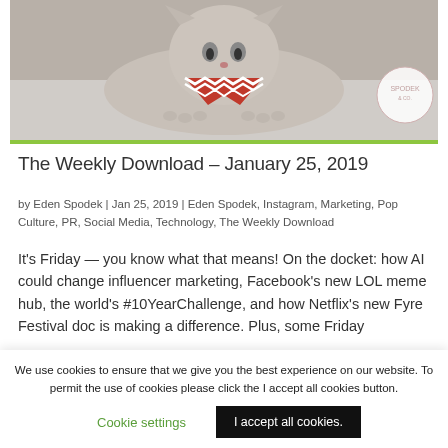[Figure (photo): Photo of a grey cat lying down wearing a red and white chevron patterned bandana, paws stretched forward, with a circular logo watermark in the top right corner]
The Weekly Download – January 25, 2019
by Eden Spodek | Jan 25, 2019 | Eden Spodek, Instagram, Marketing, Pop Culture, PR, Social Media, Technology, The Weekly Download
It's Friday — you know what that means! On the docket: how AI could change influencer marketing, Facebook's new LOL meme hub, the world's #10YearChallenge, and how Netflix's new Fyre Festival doc is making a difference. Plus, some Friday
We use cookies to ensure that we give you the best experience on our website. To permit the use of cookies please click the I accept all cookies button.
Cookie settings
I accept all cookies.